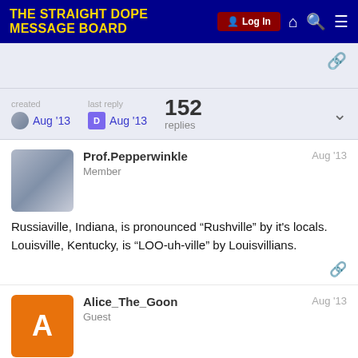THE STRAIGHT DOPE MESSAGE BOARD
created Aug '13  last reply D Aug '13  152 replies
Prof.Pepperwinkle  Member  Aug '13

Russiaville, Indiana, is pronounced “Rushville” by it's locals. Louisville, Kentucky, is “LOO-uh-ville” by Louisvillians.
Alice_The_Goon  Guest  Aug '13

Apparently, you're not supposed to call it n
1 / 153